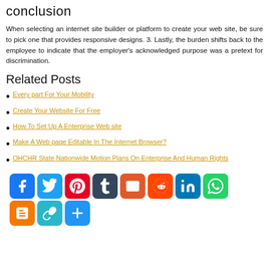conclusion
When selecting an internet site builder or platform to create your web site, be sure to pick one that provides responsive designs. 3. Lastly, the burden shifts back to the employee to indicate that the employer's acknowledged purpose was a pretext for discrimination.
Related Posts
Every part For Your Mobility
Create Your Website For Free
How To Set Up A Enterprise Web site
Make A Web page Editable In The Internet Browser?
OHCHR State Nationwide Motion Plans On Enterprise And Human Rights
[Figure (infographic): Social media sharing icon buttons: Facebook, Twitter, Pinterest, Tumblr, Email, Reddit, LinkedIn, WhatsApp, Blogger, Copy Link, Share More]